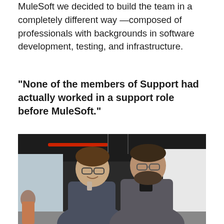MuleSoft we decided to build the team in a completely different way —composed of professionals with backgrounds in software development, testing, and infrastructure.
“None of the members of Support had actually worked in a support role before MuleSoft.”
[Figure (photo): Two men standing together and smiling in an office environment. The man on the left is wearing glasses and a dark gray button-up shirt. The man on the right is wearing glasses, has a beard, and is wearing a dark gray polo shirt. The background shows an office interior with exposed ceiling and windows.]